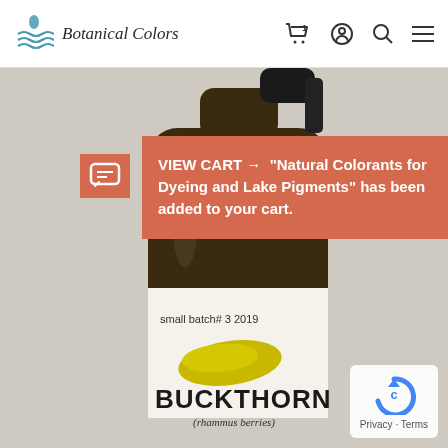Botanical Colors
VIEW CART → "Natural Colorants for Dyeing and Lake Pigments" has been added to your cart.
[Figure (photo): Close-up photo of a dark amber glass spray bottle with a white label showing 'small batch# 3 2019', a yellow paint swatch, the word BUCKTHORN in bold black text, and '(rhammus berries)' in italics below.]
Privacy · Terms